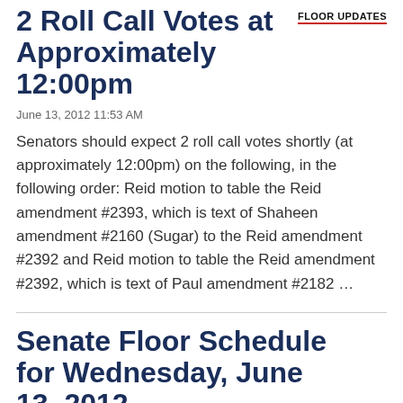2 Roll Call Votes at Approximately 12:00pm
FLOOR UPDATES
June 13, 2012 11:53 AM
Senators should expect 2 roll call votes shortly (at approximately 12:00pm) on the following, in the following order: Reid motion to table the Reid amendment #2393, which is text of Shaheen amendment #2160 (Sugar) to the Reid amendment #2392 and Reid motion to table the Reid amendment #2392, which is text of Paul amendment #2182 …
Senate Floor Schedule for Wednesday, June 13, 2012
SENATE